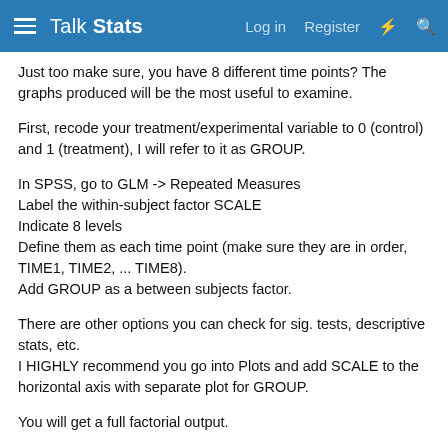Talk Stats — Log in  Register
Just too make sure, you have 8 different time points? The graphs produced will be the most useful to examine.
First, recode your treatment/experimental variable to 0 (control) and 1 (treatment), I will refer to it as GROUP.
In SPSS, go to GLM -> Repeated Measures
Label the within-subject factor SCALE
Indicate 8 levels
Define them as each time point (make sure they are in order, TIME1, TIME2, ... TIME8).
Add GROUP as a between subjects factor.
There are other options you can check for sig. tests, descriptive stats, etc.
I HIGHLY recommend you go into Plots and add SCALE to the horizontal axis with separate plot for GROUP.
You will get a full factorial output.